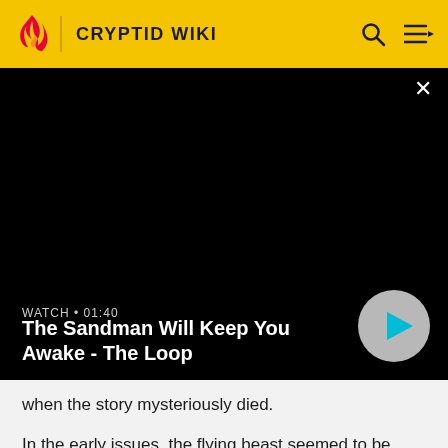CRYPTID WIKI
[Figure (screenshot): Video player panel with black background, close button (×), watch label 'WATCH • 01:40', title 'The Sandman Will Keep You Awake - The Loop', and a circular play button]
when the story mysteriously died.
In the early issues, the flying beast seemed to be everywhere at once: New Jersey, West Virginia, Ohio, and headed this way. It was reported to have created quite a